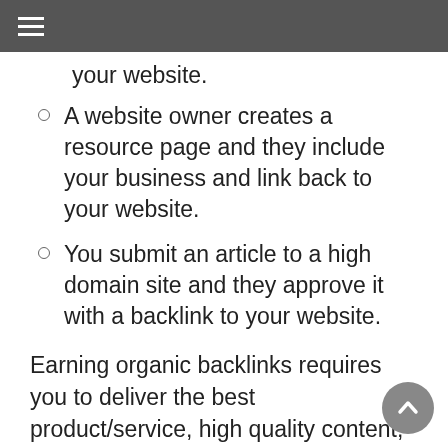≡
your website.
A website owner creates a resource page and they include your business and link back to your website.
You submit an article to a high domain site and they approve it with a backlink to your website.
Earning organic backlinks requires you to deliver the best product/service, high quality content, good marketing strategy, and an effective PR strategy.